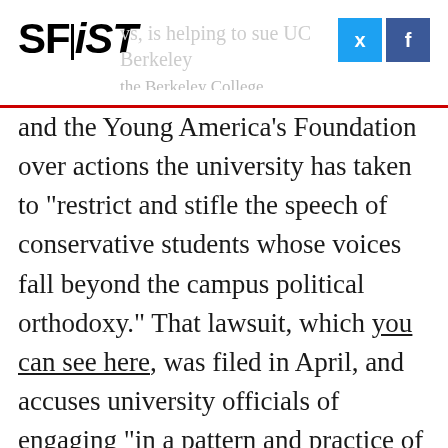SFiST [faded: ...is helping to sue UC Berkeley... the Berkeley College Republicans and the Young America's Foundation]
and the Young America's Foundation over actions the university has taken to "restrict and stifle the speech of conservative students whose voices fall beyond the campus political orthodoxy." That lawsuit, which you can see here, was filed in April, and accuses university officials of engaging "in a pattern and practice of enforcing a recently adopted, unwritten and unpublished policy that vests in University officials the unfettered discretion to unreasonably restrict the time, place, and manner of any campus event involving 'high profile speakers'."